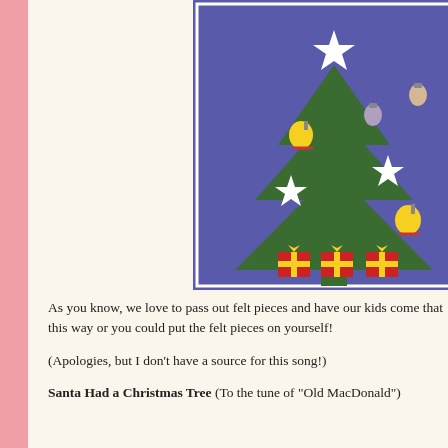[Figure (photo): A felt Christmas tree on a purple background, decorated with white stars, yellow bells, colorful light bulb ornaments, and three red gift boxes at the base.]
As you know, we love to pass out felt pieces and have our kids come that this way or you could put the felt pieces on yourself!
(Apologies, but I don't have a source for this song!)
Santa Had a Christmas Tree (To the tune of "Old MacDonald")